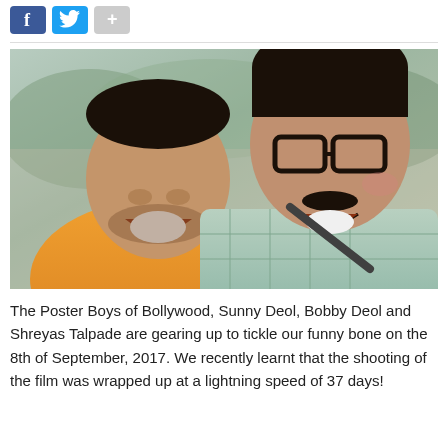[Figure (photo): Two men laughing together outdoors. One man on left wearing an orange shirt leaning on the other man's shoulder, laughing with eyes closed. The man on the right wearing glasses and a light blue plaid shirt, also laughing. Blurred outdoor background.]
The Poster Boys of Bollywood, Sunny Deol, Bobby Deol and Shreyas Talpade are gearing up to tickle our funny bone on the 8th of September, 2017. We recently learnt that the shooting of the film was wrapped up at a lightning speed of 37 days!